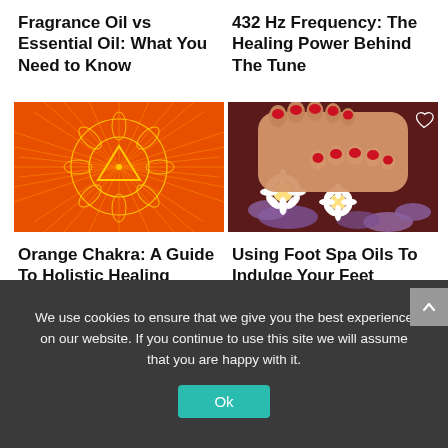Fragrance Oil vs Essential Oil: What You Need to Know
432 Hz Frequency: The Healing Power Behind The Tune
[Figure (illustration): Orange chakra mandala with radiating lines and triangle symbol on orange/yellow background]
[Figure (photo): Feet with red toenail polish resting on white and purple flowers on a dark red background]
Orange Chakra: A Guide To Holistic Healing
Using Foot Spa Oils To Indulge Your Feet
We use cookies to ensure that we give you the best experience on our website. If you continue to use this site we will assume that you are happy with it.